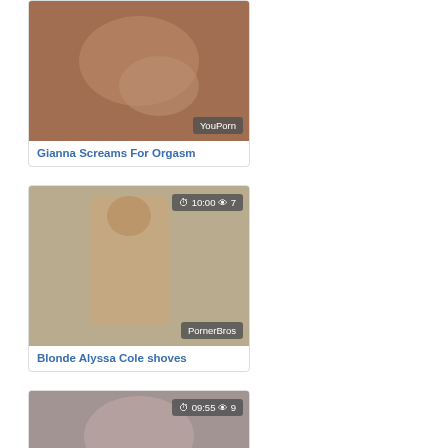[Figure (photo): Video thumbnail with YouPorn watermark]
Gianna Screams For Orgasm
[Figure (photo): Video thumbnail showing male, 10:00 duration, 7 views, PornerBros watermark]
Blonde Alyssa Cole shoves
[Figure (photo): Video thumbnail showing female, 09:55 duration, 9 views]